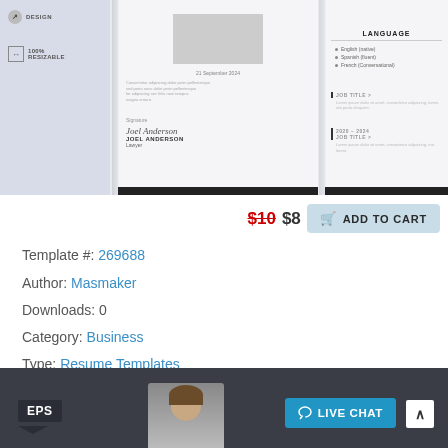[Figure (screenshot): Preview of a resume template showing multiple pages with signature area, language section, and job title sections. Light gray background with white document panels.]
$10 $8   ADD TO CART
Template #: 269688
Author: Masmaker
Downloads: 0
Category: Business
Type: Resume Templates
View: Live Demo or More Info
Alternate Live Demo: Click Here
[Figure (screenshot): Bottom dark bar showing EPS badge label on left, partial person photo in center, Live Chat button in blue on right, and scroll-to-top arrow button far right.]